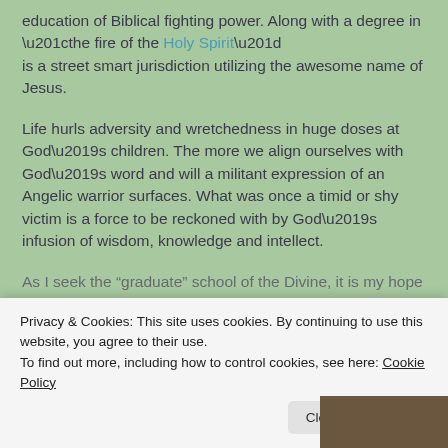education of Biblical fighting power. Along with a degree in “the fire of the Holy Spirit” is a street smart jurisdiction utilizing the awesome name of Jesus.
Life hurls adversity and wretchedness in huge doses at God’s children. The more we align ourselves with God’s word and will a militant expression of an Angelic warrior surfaces. What was once a timid or shy victim is a force to be reckoned with by God’s infusion of wisdom, knowledge and intellect.
As I seek the “graduate” school of the Divine, it is my hope
Privacy & Cookies: This site uses cookies. By continuing to use this website, you agree to their use.
To find out more, including how to control cookies, see here: Cookie Policy
Close and accept